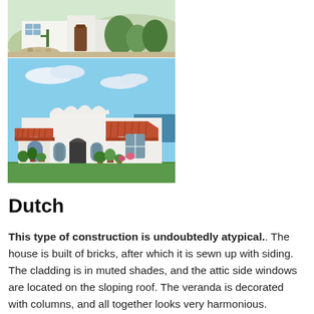[Figure (photo): Top photo: Spanish-style white stucco house exterior with desert landscaping, cactus, olive trees, gravel path, and blue shuttered window]
[Figure (photo): Bottom photo: White Spanish colonial revival house with red terracotta tile roof, arched doorway, potted plants, green lawn, blue sky background]
Dutch
This type of construction is undoubtedly atypical.. The house is built of bricks, after which it is sewn up with siding. The cladding is in muted shades, and the attic side windows are located on the sloping roof. The veranda is decorated with columns, and all together looks very harmonious.